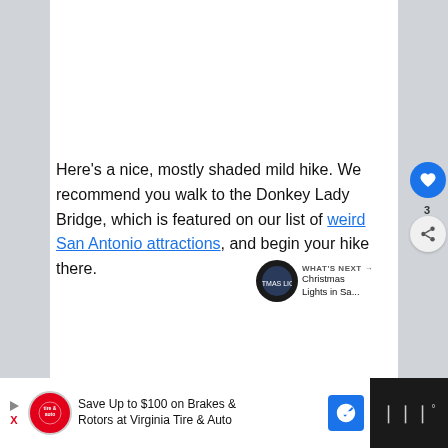Here's a nice, mostly shaded mild hike. We recommend you walk to the Donkey Lady Bridge, which is featured on our list of weird San Antonio attractions, and begin your hike there.
[Figure (screenshot): What's Next promo thumbnail showing Christmas Lights in Sa...]
[Figure (screenshot): Advertisement bar: Save Up to $100 on Brakes & Rotors at Virginia Tire & Auto]